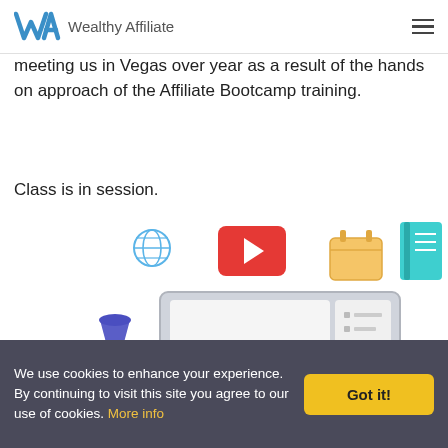Wealthy Affiliate
meeting us in Vegas over year as a result of the hands on approach of the Affiliate Bootcamp training.
Class is in session.
[Figure (illustration): Illustration of online learning setup: a laptop with a green play button on screen, a desk lamp, a globe icon, a YouTube-style play button, a calendar icon, a teal notebook, and star ratings below the laptop screen.]
We use cookies to enhance your experience. By continuing to visit this site you agree to our use of cookies. More info